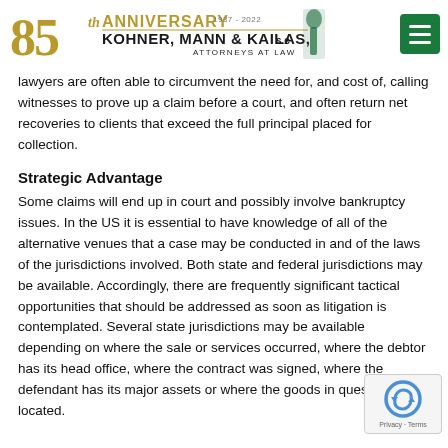85th Anniversary Kohner, Mann & Kailas, S.C. Attorneys at Law 1937-2022
lawyers are often able to circumvent the need for, and cost of, calling witnesses to prove up a claim before a court, and often return net recoveries to clients that exceed the full principal placed for collection.
Strategic Advantage
Some claims will end up in court and possibly involve bankruptcy issues. In the US it is essential to have knowledge of all of the alternative venues that a case may be conducted in and of the laws of the jurisdictions involved. Both state and federal jurisdictions may be available. Accordingly, there are frequently significant tactical opportunities that should be addressed as soon as litigation is contemplated. Several state jurisdictions may be available depending on where the sale or services occurred, where the debtor has its head office, where the contract was signed, where the defendant has its major assets or where the goods in question are located.